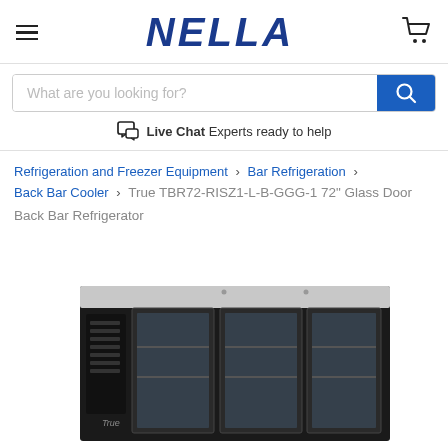NELLA
What are you looking for?
Live Chat Experts ready to help
Refrigeration and Freezer Equipment > Bar Refrigeration > Back Bar Cooler > True TBR72-RISZ1-L-B-GGG-1 72" Glass Door Back Bar Refrigerator
[Figure (photo): True TBR72-RISZ1-L-B-GGG-1 72-inch glass door back bar refrigerator, black exterior with stainless steel top and three glass doors]